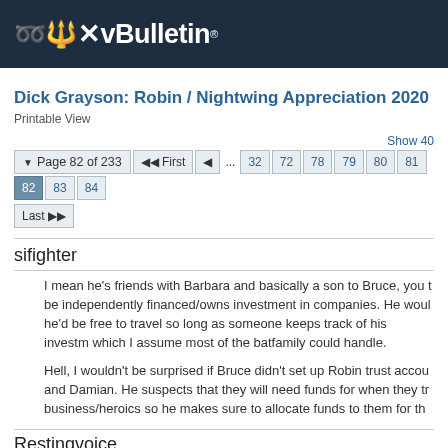vBulletin
Dick Grayson: Robin / Nightwing Appreciation 2020
Printable View
Page 82 of 233 | First | ... 32 72 78 79 80 81 82 83 84 | Last
sifighter
I mean he's friends with Barbara and basically a son to Bruce, you to be independently financed/owns investment in companies. He would he'd be free to travel so long as someone keeps track of his investm which I assume most of the batfamily could handle.

Hell, I wouldn't be surprised if Bruce didn't set up Robin trust accour and Damian. He suspects that they will need funds for when they tra business/heroics so he makes sure to allocate funds to them for the
Restingvoice